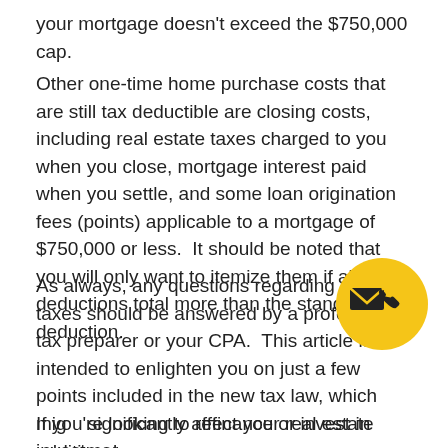your mortgage doesn't exceed the $750,000 cap.
Other one-time home purchase costs that are still tax deductible are closing costs, including real estate taxes charged to you when you close, mortgage interest paid when you settle, and some loan origination fees (points) applicable to a mortgage of $750,000 or less.  It should be noted that you will only want to itemize them if all your deductions total more than the standard deduction.
As always, any questions regarding your taxes should be answered by a professional tax preparer or your CPA.  This article is intended to enlighten you on just a few points included in the new tax law, which might significantly affect your real estate investments.
[Figure (illustration): Yellow emoji circle with envelope and phone icons]
If you're looking to refinance or invest in additional